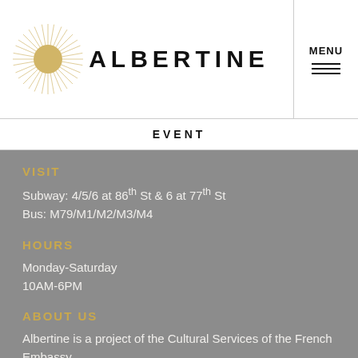ALBERTINE
EVENT
VISIT
Subway: 4/5/6 at 86th St & 6 at 77th St
Bus: M79/M1/M2/M3/M4
HOURS
Monday-Saturday
10AM-6PM
ABOUT US
Albertine is a project of the Cultural Services of the French Embassy.
CONTACT
info@albertine.com